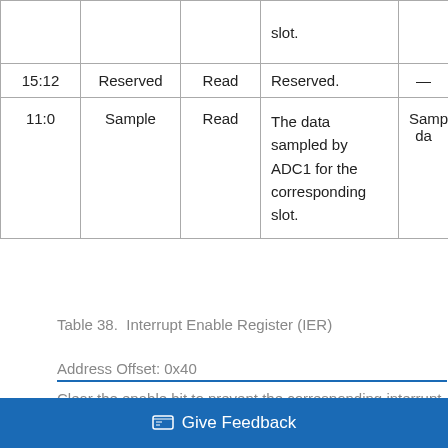| Bits | Name | Type | Description | Reset |
| --- | --- | --- | --- | --- |
|  |  |  | slot. |  |
| 15:12 | Reserved | Read | Reserved. | — |
| 11:0 | Sample | Read | The data sampled by ADC1 for the corresponding slot. | Sample data |
Table 38.  Interrupt Enable Register (IER)
Address Offset: 0x40
Clear the enable bit to prevent the corresponding interrupt from causing interrupt output assertion (IRQ). The enable bit interrupt status bit value from showing in the interrupt s